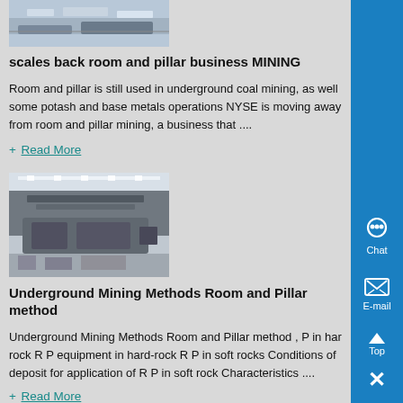[Figure (photo): Mining machinery photo at top of page]
scales back room and pillar business MINING
Room and pillar is still used in underground coal mining, as well some potash and base metals operations NYSE is moving away from room and pillar mining, a business that ....
+ Read More
[Figure (photo): Underground mining room and pillar equipment photo]
Underground Mining Methods Room and Pillar method
Underground Mining Methods Room and Pillar method , P in hard rock R P equipment in hard-rock R P in soft rocks Conditions of deposit for application of R P in soft rock Characteristics ....
+ Read More